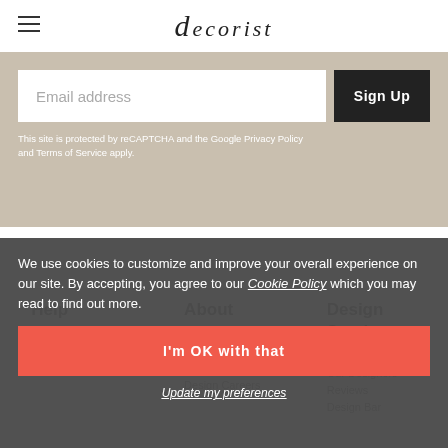[Figure (logo): Decorist logo with stylized 'd' followed by 'ecorist' in italic serif font]
Email address
Sign Up
This site is protected by reCAPTCHA and the Google Privacy Policy and Terms of Service apply.
Help
About
Design Services
support@decorist.com
About
Design Process
Our Designers
San Francisco
Reviews
Showhouse
Design Bar
Design Careers
We use cookies to customize and improve your overall experience on our site. By accepting, you agree to our Cookie Policy which you may read to find out more.
I'm OK with that
Update my preferences